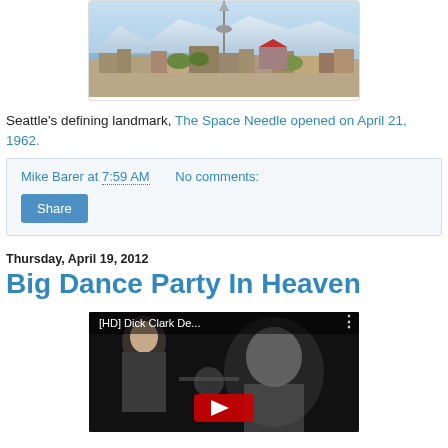[Figure (photo): Aerial photo of Seattle with the Space Needle visible against mountains]
Seattle's defining landmark, The Space Needle opened on April 21, 1962.
Mike Barer at 7:59 AM    No comments:
Share
Thursday, April 19, 2012
Big Dance Party In Heaven
[Figure (screenshot): YouTube video thumbnail showing [HD] Dick Clark De... with a person and a Dick Clark image]